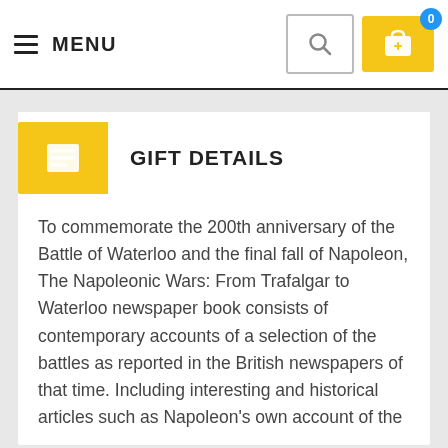MENU
GIFT DETAILS
To commemorate the 200th anniversary of the Battle of Waterloo and the final fall of Napoleon, The Napoleonic Wars: From Trafalgar to Waterloo newspaper book consists of contemporary accounts of a selection of the battles as reported in the British newspapers of that time. Including interesting and historical articles such as Napoleon's own account of the